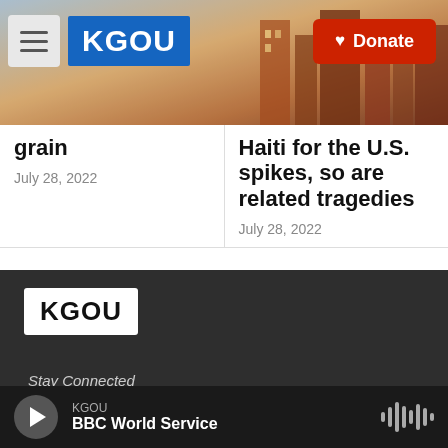KGOU | Donate
[Figure (photo): City skyline photo used as header background image]
grain
July 28, 2022
Haiti for the U.S. spikes, so are related tragedies
July 28, 2022
Support nonprofit, public service journalism you trust. Give now. Whatever the news brings next, you'll help KGOU and NPR cover it.
[Figure (logo): KGOU logo white on dark background in footer]
Stay Connected
KGOU BBC World Service